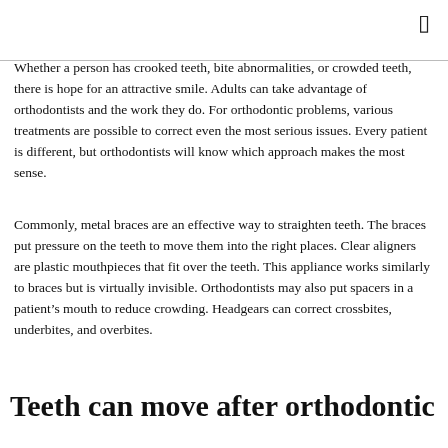Whether a person has crooked teeth, bite abnormalities, or crowded teeth, there is hope for an attractive smile. Adults can take advantage of orthodontists and the work they do. For orthodontic problems, various treatments are possible to correct even the most serious issues. Every patient is different, but orthodontists will know which approach makes the most sense.
Commonly, metal braces are an effective way to straighten teeth. The braces put pressure on the teeth to move them into the right places. Clear aligners are plastic mouthpieces that fit over the teeth. This appliance works similarly to braces but is virtually invisible. Orthodontists may also put spacers in a patient's mouth to reduce crowding. Headgears can correct crossbites, underbites, and overbites.
Teeth can move after orthodontic